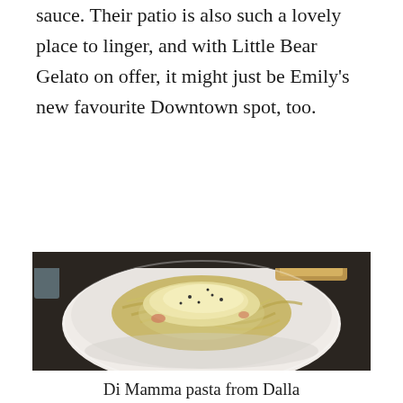sauce. Their patio is also such a lovely place to linger, and with Little Bear Gelato on offer, it might just be Emily's new favourite Downtown spot, too.
[Figure (photo): A white bowl of fettuccine pasta topped with grated parmesan cheese and black pepper, with bread visible in the background on a dark table.]
Di Mamma pasta from Dalla